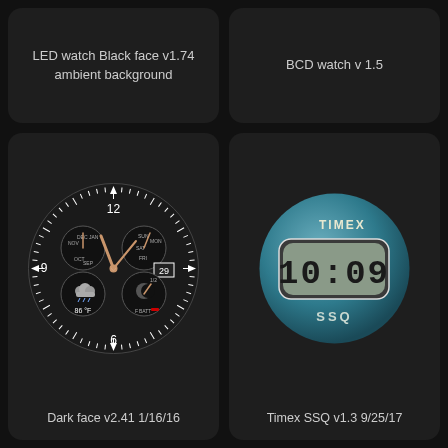[Figure (screenshot): LED watch Black face v1.74 ambient background watch face thumbnail]
LED watch Black face v1.74
ambient background
[Figure (screenshot): BCD watch v 1.5 watch face thumbnail]
BCD watch v 1.5
[Figure (illustration): Dark analog watch face with sub-dials showing DEC/month, SUN/day, weather 86°F, moon phase, date 29, battery indicator]
Dark face v2.41 1/16/16
[Figure (illustration): Timex SSQ circular blue watch face showing digital time 10:09 on LCD display]
Timex SSQ v1.3 9/25/17